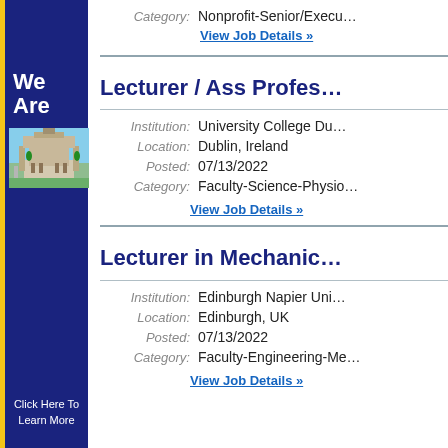Category: Nonprofit-Senior/Executive
View Job Details »
[Figure (illustration): University College Dublin sidebar advertisement with 'We Are' text, photo of university building, and 'Click Here To Learn More' link]
Lecturer / Ass Profes…
Institution: University College Du…
Location: Dublin, Ireland
Posted: 07/13/2022
Category: Faculty-Science-Physio…
View Job Details »
Lecturer in Mechanic…
Institution: Edinburgh Napier Uni…
Location: Edinburgh, UK
Posted: 07/13/2022
Category: Faculty-Engineering-Me…